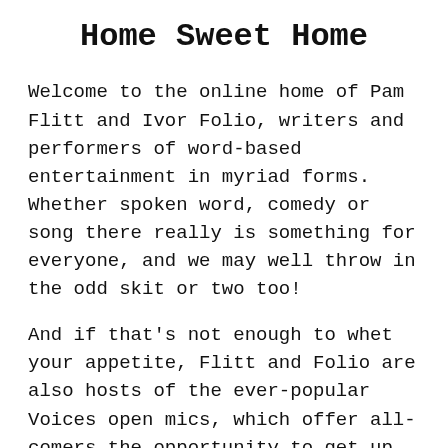Home Sweet Home
Welcome to the online home of Pam Flitt and Ivor Folio, writers and performers of word-based entertainment in myriad forms. Whether spoken word, comedy or song there really is something for everyone, and we may well throw in the odd skit or two too!
And if that's not enough to whet your appetite, Flitt and Folio are also hosts of the ever-popular Voices open mics, which offer all-comers the opportunity to get up and have a go with a guaranteed warm hand on their entrance.